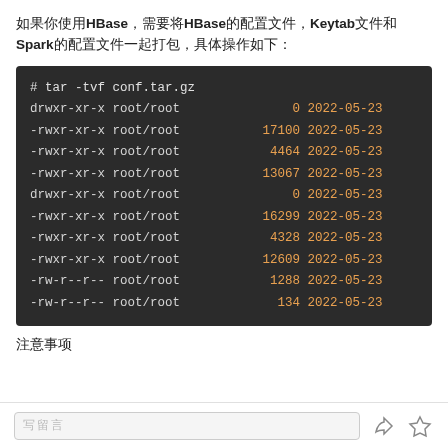如果你使用HBase，需要将HBase的配置文件，Keytab文件和Spark的配置文件一起打包，具体操作如下：
[Figure (screenshot): Terminal output of 'tar -tvf conf.tar.gz' showing file permissions, owner (root/root), sizes, and dates (2022-05-23) for multiple files including drwxr-xr-x and -rwxr-xr-x entries]
注意事项